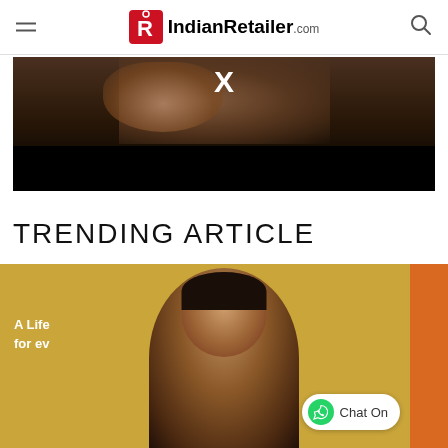IndianRetailer.com
[Figure (screenshot): Video thumbnail showing a woman's face in dark cinematic lighting with a white X overlay, bottom half is black]
TRENDING ARTICLE
[Figure (photo): Photo of a man in a professional setting, with text 'A Life of...' and orange accent bar on right side, with a Chat On WhatsApp button overlay]